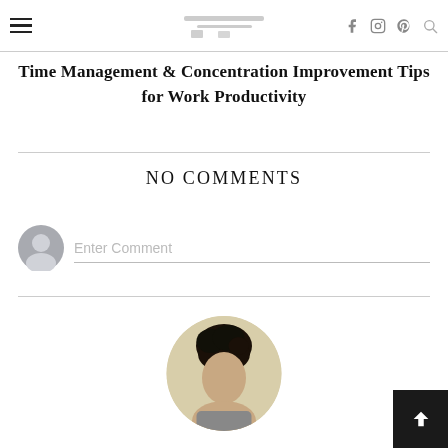Navigation header with hamburger menu, logo, social icons (Facebook, Instagram, Pinterest), and search icon
Time Management & Concentration Improvement Tips for Work Productivity
NO COMMENTS
Enter Comment
[Figure (photo): Circular author profile photo showing a person with dark curly hair against a light background]